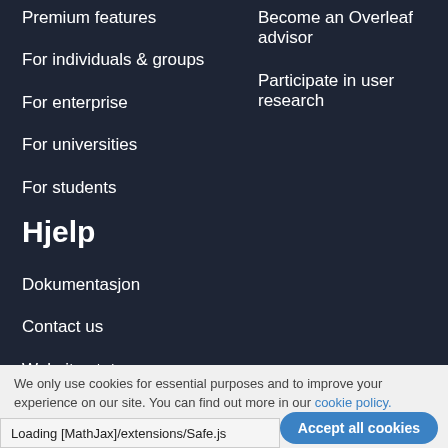Premium features
For individuals & groups
For enterprise
For universities
For students
Become an Overleaf advisor
Participate in user research
Hjelp
Dokumentasjon
Contact us
Website status
We only use cookies for essential purposes and to improve your experience on our site. You can find out more in our cookie policy.
Essential cookies only
Accept all cookies
Loading [MathJax]/extensions/Safe.js